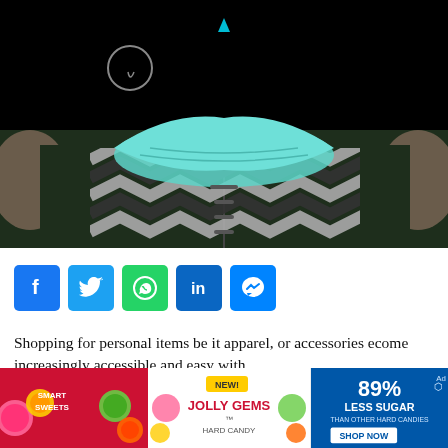[Figure (photo): Video player area showing a person wearing a face mask with a chevron-patterned scarf and winter jacket. Top half is black (video player UI) with a circular camera icon and a teal triangle play indicator. Bottom half shows the photo of the masked person.]
[Figure (infographic): Social sharing buttons row: Facebook (blue), Twitter (light blue), WhatsApp (green), LinkedIn (dark blue), Messenger (blue)]
Shopping for personal items be it apparel, or accessories become increasingly accessible and easy with
[Figure (infographic): Advertisement banner for Smart Sweets Jolly Gems Hard Candy: red left section with candy imagery, white middle section with product name and NEW! label, blue right section reading 89% LESS SUGAR THAN OTHER HARD CANDIES with SHOP NOW button]